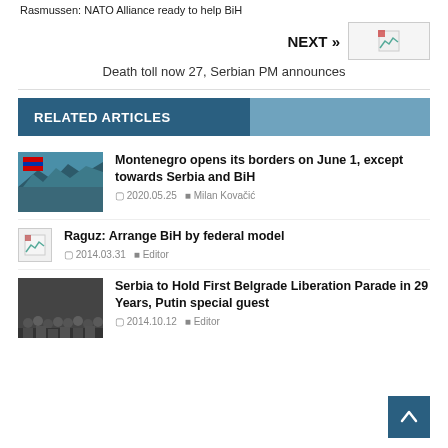Rasmussen: NATO Alliance ready to help BiH
NEXT »
Death toll now 27, Serbian PM announces
RELATED ARTICLES
Montenegro opens its borders on June 1, except towards Serbia and BiH
2020.05.25  Milan Kovačić
Raguz: Arrange BiH by federal model
2014.03.31  Editor
Serbia to Hold First Belgrade Liberation Parade in 29 Years, Putin special guest
2014.10.12  Editor